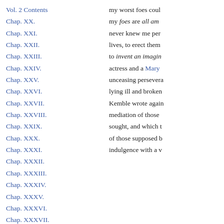Vol. 2 Contents
Chap. XX.
Chap. XXI.
Chap. XXII.
Chap. XXIII.
Chap. XXIV.
Chap. XXV.
Chap. XXVI.
Chap. XXVII.
Chap. XXVIII.
Chap. XXIX.
Chap. XXX.
Chap. XXXI.
Chap. XXXII.
Chap. XXXIII.
Chap. XXXIV.
Chap. XXXV.
Chap. XXXVI.
Chap. XXXVII.
Index
my worst foes coul my foes are all am never knew me per lives, to erect them to invent an imagin actress and a Mary unceasing persevera lying ill and broken Kemble wrote again mediation of those sought, and which t of those supposed b indulgence with a v